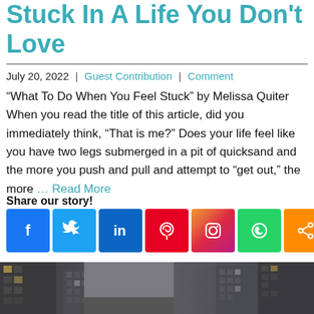Stuck In A Life You Don't Love
July 20, 2022 | Guest Contribution | Comment
“What To Do When You Feel Stuck” by Melissa Quiter When you read the title of this article, did you immediately think, “That is me?” Does your life feel like you have two legs submerged in a pit of quicksand and the more you push and pull and attempt to “get out,” the more … Read More
Share our story!
[Figure (infographic): Social media sharing buttons: Facebook, Twitter, LinkedIn, Pinterest, Instagram, WhatsApp, Share]
[Figure (photo): Urban street scene with tall buildings on either side and a person visible in the lower portion]